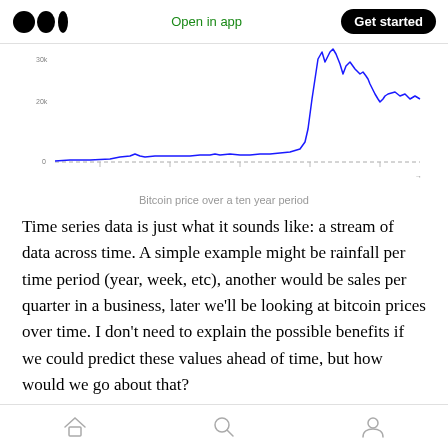Open in app | Get started
[Figure (continuous-plot): Bitcoin price over a ten year period — a line chart showing near-zero prices for many years then a dramatic spike upward at the far right.]
Bitcoin price over a ten year period
Time series data is just what it sounds like: a stream of data across time. A simple example might be rainfall per time period (year, week, etc), another would be sales per quarter in a business, later we’ll be looking at bitcoin prices over time. I don’t need to explain the possible benefits if we could predict these values ahead of time, but how would we go about that?
Home | Search | Profile